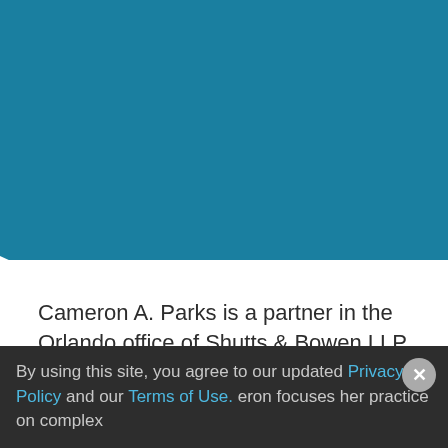[Figure (illustration): Teal/blue geometric background with angular white shape at bottom-left corner]
Cameron A. Parks is a partner in the Orlando office of Shutts & Bowen LLP, where she is a member of the Business Litigation and Intellectual Property Practice Groups.
By using this site, you agree to our updated Privacy Policy and our Terms of Use.
eron focuses her practice on complex